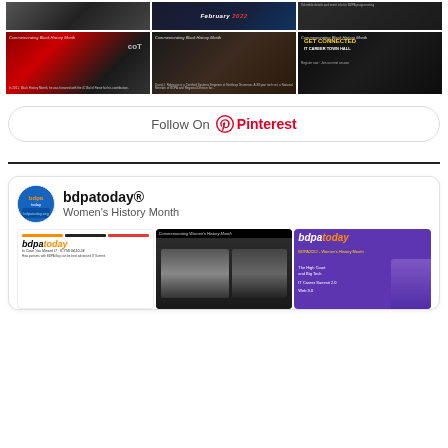[Figure (photo): 3x2 grid of Pinterest board images for Black History Month. Top row: black and white photo of people, February 2022 magazine cover, event schedule post. Bottom row: man with CompTIA award in red theater, man applauding at dinner event, 'Get Connected' promotional post.]
[Figure (infographic): Follow On Pinterest button with Pinterest logo]
[Figure (infographic): bdpatoday social media profile showing avatar, name bdpatoday and Women's History Month subtitle, with three thumbnail images below]
bdpatoday®
Women's History Month